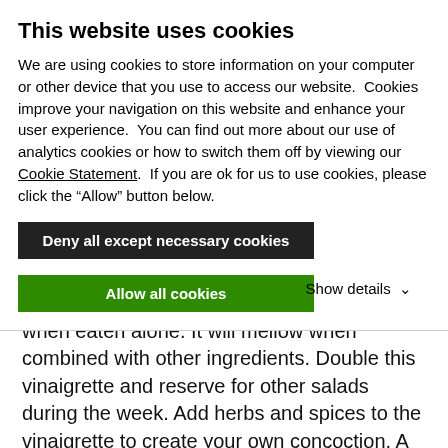This website uses cookies
We are using cookies to store information on your computer or other device that you use to access our website.  Cookies improve your navigation on this website and enhance your user experience.  You can find out more about our use of analytics cookies or how to switch them off by viewing our Cookie Statement.  If you are ok for us to use cookies, please click the “Allow” button below.
Deny all except necessary cookies
Allow all cookies
Show details ∨
vinaigrette tends to slightly bitter to the taste when eaten alone. It will mellow when combined with other ingredients. Double this vinaigrette and reserve for other salads during the week. Add herbs and spices to the vinaigrette to create your own concoction. A traditional vinaigrette is 1 part vinegar to 2-3 parts oil. Remembering this ratio will help you have a successful blend every time. When using garlic, onions, or other aromatic ingredients, start with small quanitities and adjust to taste as the